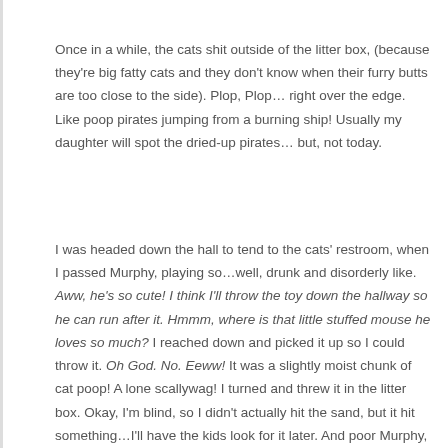Once in a while, the cats shit outside of the litter box, (because they're big fatty cats and they don't know when their furry butts are too close to the side). Plop, Plop… right over the edge. Like poop pirates jumping from a burning ship! Usually my daughter will spot the dried-up pirates… but, not today.
I was headed down the hall to tend to the cats' restroom, when I passed Murphy, playing so…well, drunk and disorderly like. Aww, he's so cute! I think I'll throw the toy down the hallway so he can run after it. Hmmm, where is that little stuffed mouse he loves so much? I reached down and picked it up so I could throw it. Oh God. No. Eeww! It was a slightly moist chunk of cat poop! A lone scallywag! I turned and threw it in the litter box. Okay, I'm blind, so I didn't actually hit the sand, but it hit something…I'll have the kids look for it later. And poor Murphy, I think he's still looking for his wee pirate cat toy too!